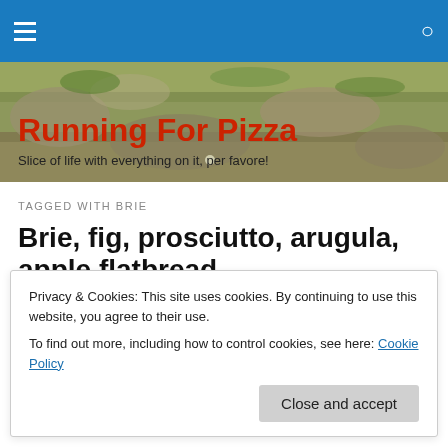Navigation bar with hamburger menu and search icon
[Figure (photo): Stone/cobblestone background image with green moss, serving as hero banner]
Running For Pizza
Slice of life with everything on it, per favore!
TAGGED WITH BRIE
Brie, fig, prosciutto, arugula, apple flatbread
Privacy & Cookies: This site uses cookies. By continuing to use this website, you agree to their use.
To find out more, including how to control cookies, see here: Cookie Policy
Close and accept
The whole time my son was eating it, I kept thinking how I